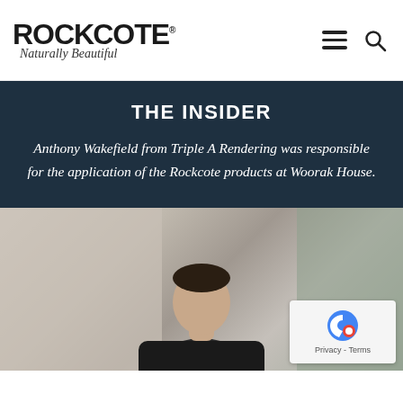ROCKCOTE Naturally Beautiful
THE INSIDER
Anthony Wakefield from Triple A Rendering was responsible for the application of the Rockcote products at Woorak House.
[Figure (photo): Partial photo of a person at the bottom of the page, with a curtained backdrop]
[Figure (other): reCAPTCHA widget overlay showing Privacy - Terms]